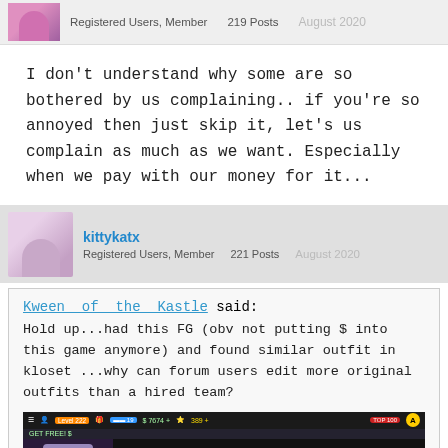Registered Users, Member   219 Posts   August 2020
I don't understand why some are so bothered by us complaining.. if you're so annoyed then just skip it, let's us complain as much as we want. Especially  when we pay with our money for it...
kittykatx  Registered Users, Member   221 Posts   August 2020
Kween of the Kastle said:
Hold up...had this FG (obv not putting $ into this game anymore) and found similar outfit in kloset ...why can forum users edit more original outfits than a hired team?
[Figure (screenshot): Mobile game screenshot showing #FASHIONGOALS limited time offer screen with game UI bar at top showing currency and stats]